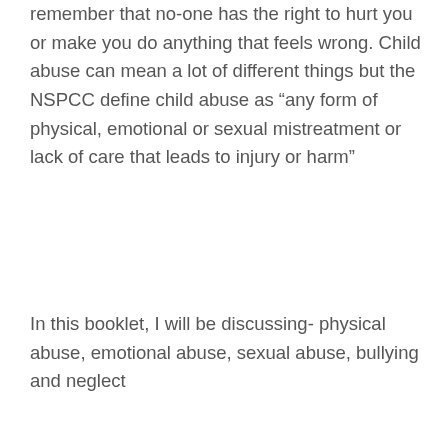remember that no-one has the right to hurt you or make you do anything that feels wrong. Child abuse can mean a lot of different things but the NSPCC define child abuse as “any form of physical, emotional or sexual mistreatment or lack of care that leads to injury or harm”
In this booklet, I will be discussing- physical abuse, emotional abuse, sexual abuse, bullying and neglect